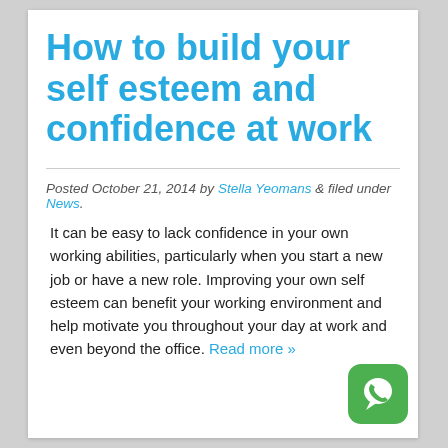How to build your self esteem and confidence at work
Posted October 21, 2014 by Stella Yeomans & filed under News.
It can be easy to lack confidence in your own working abilities, particularly when you start a new job or have a new role. Improving your own self esteem can benefit your working environment and help motivate you throughout your day at work and even beyond the office. Read more »
[Figure (logo): WhatsApp icon — green rounded square with white phone/chat bubble logo]